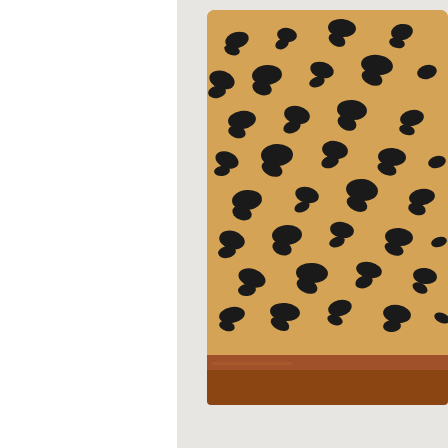[Figure (photo): Cropped product photo showing a leopard print faux fur shoulder bag with brown leather base, photographed against a white/light grey background. The image is cropped showing the lower portion of the bag.]
Mellshy Faux Fur Shoulder Bag, $, available a